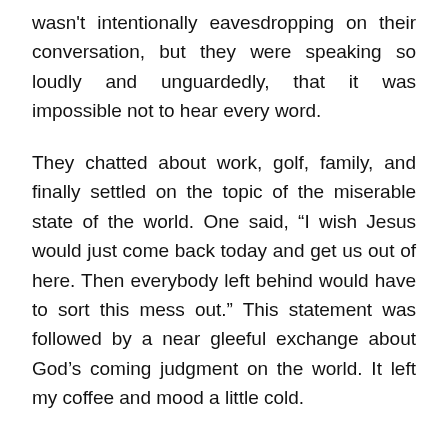wasn't intentionally eavesdropping on their conversation, but they were speaking so loudly and unguardedly, that it was impossible not to hear every word.
They chatted about work, golf, family, and finally settled on the topic of the miserable state of the world. One said, “I wish Jesus would just come back today and get us out of here. Then everybody left behind would have to sort this mess out.” This statement was followed by a near gleeful exchange about God’s coming judgment on the world. It left my coffee and mood a little cold.